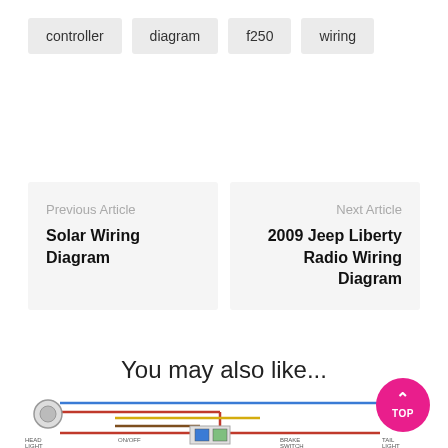controller
diagram
f250
wiring
Previous Article
Solar Wiring Diagram
Next Article
2009 Jeep Liberty Radio Wiring Diagram
You may also like...
[Figure (schematic): Partial wiring diagram showing headlight, ON/OFF switch, relay block, brake switch, and tail light connections with colored wires (blue, red, yellow, brown).]